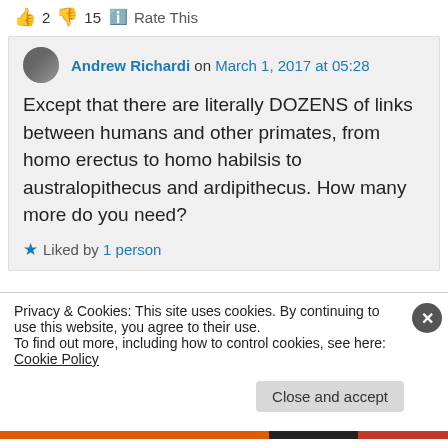2  15  Rate This
Andrew Richardi on March 1, 2017 at 05:28
Except that there are literally DOZENS of links between humans and other primates, from homo erectus to homo habilsis to australopithecus and ardipithecus. How many more do you need?
Liked by 1 person
Privacy & Cookies: This site uses cookies. By continuing to use this website, you agree to their use.
To find out more, including how to control cookies, see here: Cookie Policy
Close and accept